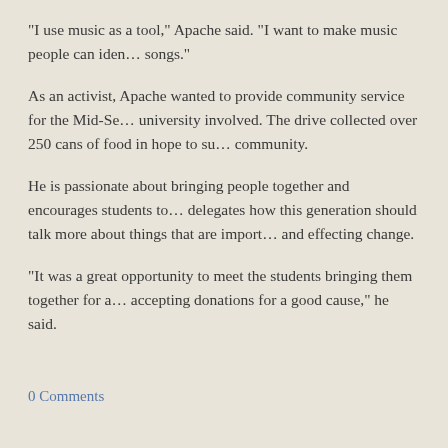"I use music as a tool," Apache said. "I want to make music people can iden… songs."
As an activist, Apache wanted to provide community service for the Mid-Se… university involved. The drive collected over 250 cans of food in hope to su… community.
He is passionate about bringing people together and encourages students to… delegates how this generation should talk more about things that are import… and effecting change.
"It was a great opportunity to meet the students bringing them together for a… accepting donations for a good cause," he said.
0 Comments
Leave a Reply.